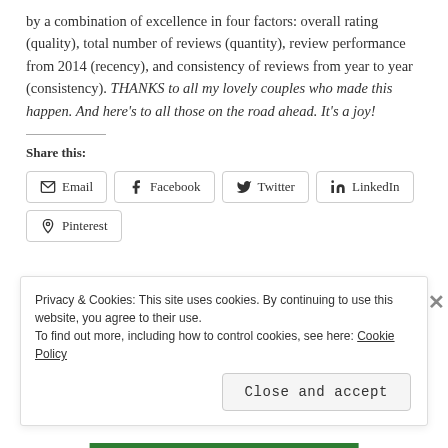by a combination of excellence in four factors: overall rating (quality), total number of reviews (quantity), review performance from 2014 (recency), and consistency of reviews from year to year (consistency). THANKS to all my lovely couples who made this happen. And here's to all those on the road ahead. It's a joy!
Share this:
Privacy & Cookies: This site uses cookies. By continuing to use this website, you agree to their use. To find out more, including how to control cookies, see here: Cookie Policy
Close and accept